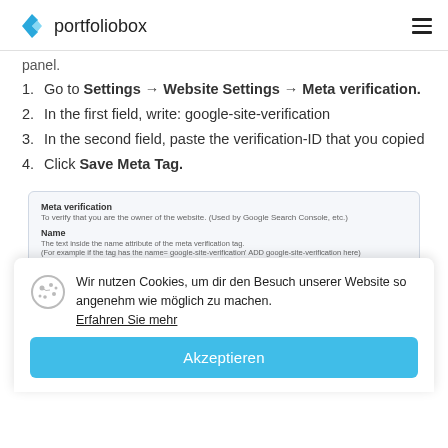portfoliobox
panel.
Go to Settings → Website Settings → Meta verification.
In the first field, write: google-site-verification
In the second field, paste the verification-ID that you copied
Click Save Meta Tag.
[Figure (screenshot): Screenshot of Meta verification settings panel in Portfoliobox showing fields for Name and a text input with 'google-site-verification' entered, overlaid by a German cookie consent dialog with 'Akzeptieren' button.]